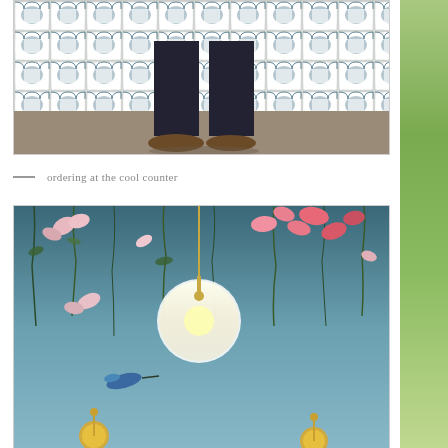[Figure (photo): Photo of person's legs/feet standing in front of a decorative white geometric lattice wall with dark teal/blue geometric pattern. Person wearing dark jeans and brown shoes on a concrete floor.]
— ordering at the cool counter
[Figure (photo): Photo of decorative floral wallpaper featuring tropical flowers (pink orchids, hanging vines, hummingbirds) on a teal/blue-grey background, with globe pendant lights hanging from brass fixtures.]